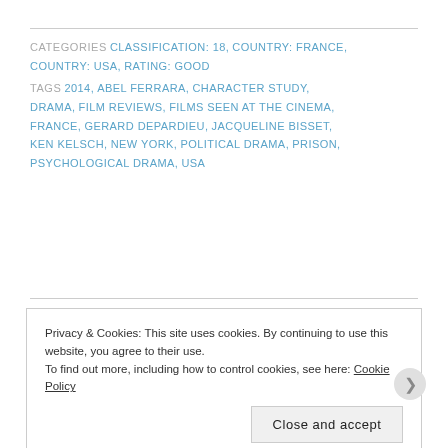CATEGORIES CLASSIFICATION: 18, COUNTRY: FRANCE, COUNTRY: USA, RATING: GOOD
TAGS 2014, ABEL FERRARA, CHARACTER STUDY, DRAMA, FILM REVIEWS, FILMS SEEN AT THE CINEMA, FRANCE, GERARD DEPARDIEU, JACQUELINE BISSET, KEN KELSCH, NEW YORK, POLITICAL DRAMA, PRISON, PSYCHOLOGICAL DRAMA, USA
Privacy & Cookies: This site uses cookies. By continuing to use this website, you agree to their use. To find out more, including how to control cookies, see here: Cookie Policy
Close and accept